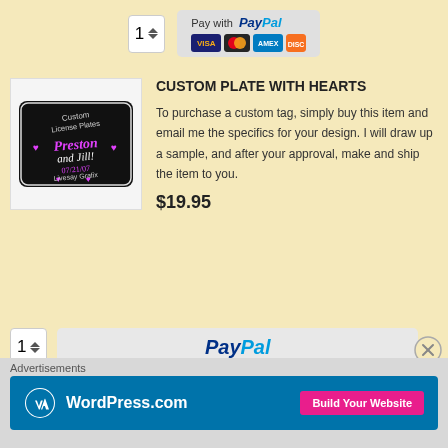[Figure (screenshot): Quantity selector showing '1' with up/down arrows, and PayPal payment button with VISA, Mastercard, AMEX, Discover card icons]
[Figure (photo): Custom license plate with text 'Custom License Plates', 'Preston and Jill', '07/21/07', 'Livesay Grafix' on black background with pink hearts]
CUSTOM PLATE WITH HEARTS
To purchase a custom tag, simply buy this item and email me the specifics for your design. I will draw up a sample, and after your approval, make and ship the item to you.
$19.95
[Figure (screenshot): Quantity selector showing '1' with up/down arrows, and PayPal checkout button]
Advertisements
[Figure (screenshot): WordPress.com advertisement banner with logo and 'Build Your Website' pink button]